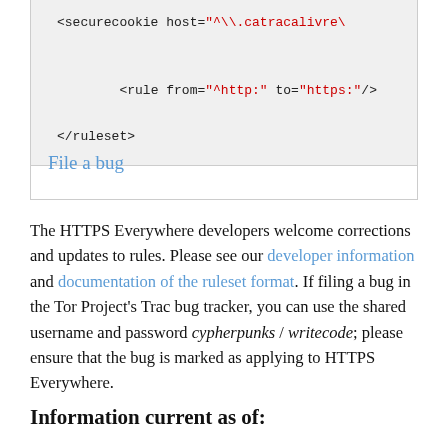<securecookie host="^\.catracalivre\

    <rule from="^http:" to="https:"/>

</ruleset>
File a bug
The HTTPS Everywhere developers welcome corrections and updates to rules. Please see our developer information and documentation of the ruleset format. If filing a bug in the Tor Project's Trac bug tracker, you can use the shared username and password cypherpunks / writecode; please ensure that the bug is marked as applying to HTTPS Everywhere.
Information current as of: